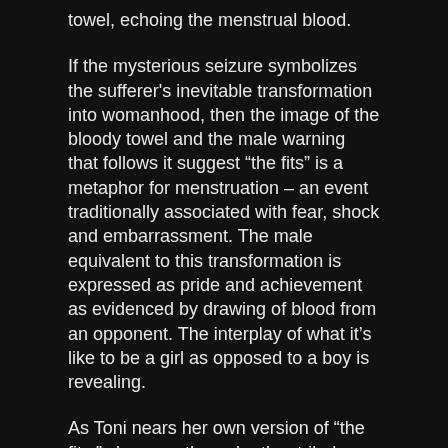towel, echoing the menstrual blood.
If the mysterious seizure symbolizes the sufferer's inevitable transformation into womanhood, then the image of the bloody towel and the male warning that follows it suggest “the fits” is a metaphor for menstruation – an event traditionally associated with fear, shock and embarrassment. The male equivalent to this transformation is expressed as pride and achievement as evidenced by drawing of blood from an opponent. The interplay of what it's like to be a girl as opposed to a boy is revealing.
As Toni nears her own version of “the fits,” she goes through other tribal rituals. She receives a tattoo from other girls, she finds her hands and nails smeared or painted with glittery nail polish, and she pierces her ears—another bloody tradition. These signs of transformation put more and more distance between Toni and her brother and the boys in general. One of them says in